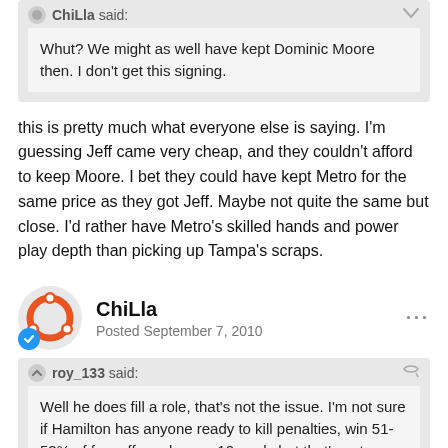ChiLla said:
Whut? We might as well have kept Dominic Moore then. I don't get this signing.
this is pretty much what everyone else is saying. I'm guessing Jeff came very cheap, and they couldn't afford to keep Moore. I bet they could have kept Metro for the same price as they got Jeff. Maybe not quite the same but close. I'd rather have Metro's skilled hands and power play depth than picking up Tampa's scraps.
ChiLla
Posted September 7, 2010
roy_133 said:
Well he does fill a role, that's not the issue. I'm not sure if Hamilton has anyone ready to kill penalties, win 51-53% of faceoffs and score 10 goals but that's not even the issue. He can